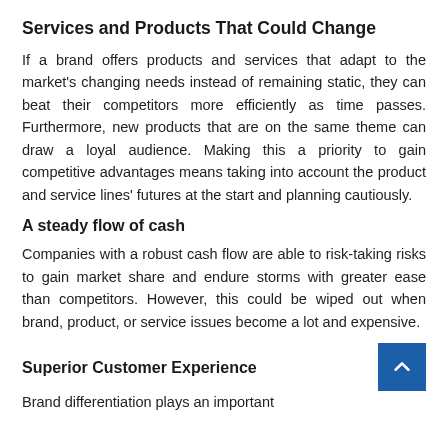Services and Products That Could Change
If a brand offers products and services that adapt to the market's changing needs instead of remaining static, they can beat their competitors more efficiently as time passes. Furthermore, new products that are on the same theme can draw a loyal audience. Making this a priority to gain competitive advantages means taking into account the product and service lines' futures at the start and planning cautiously.
A steady flow of cash
Companies with a robust cash flow are able to risk-taking risks to gain market share and endure storms with greater ease than competitors. However, this could be wiped out when brand, product, or service issues become a lot and expensive.
Superior Customer Experience
Brand differentiation plays an important…